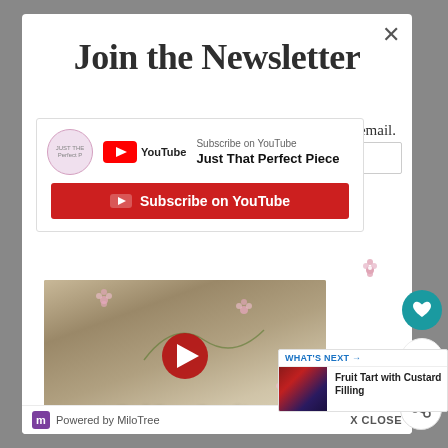Join the Newsletter
[Figure (screenshot): YouTube subscribe panel for 'Just That Perfect Piece' channel with Subscribe on YouTube button]
[Figure (screenshot): Video thumbnail showing Book Pages Pumpkin craft with play button]
by email.
r time.
15
WHAT'S NEXT → Fruit Tart with Custard Filling
Powered by MiloTree   X CLOSE